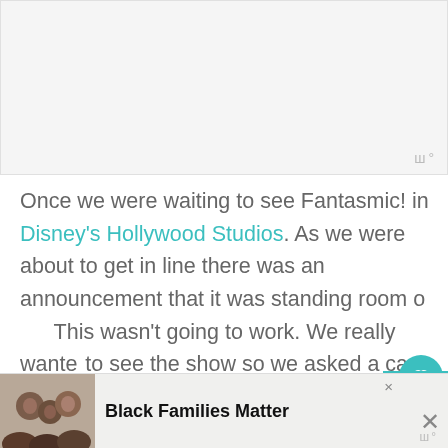[Figure (other): Empty light gray advertisement placeholder box at the top of the page with a watermark symbol in the bottom-right corner]
Once we were waiting to see Fantasmic! in Disney's Hollywood Studios. As we were about to get in line there was an announcement that it was standing room only. This wasn't going to work. We really wanted to see the show so we asked a cast member
[Figure (photo): Bottom advertisement banner showing a photo of a Black family smiling, with bold text 'Black Families Matter' and a close button]
[Figure (infographic): Floating social interaction UI: teal heart/like button, 2.3K count label, and share button on the right side of the page]